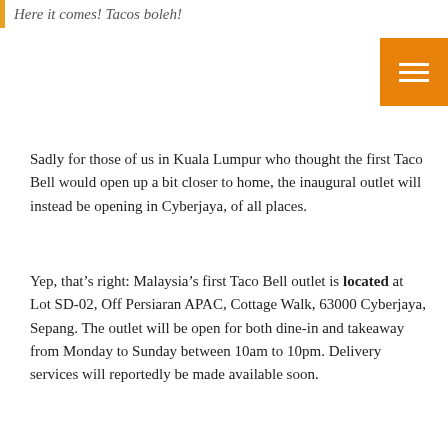Here it comes! Tacos boleh!
Sadly for those of us in Kuala Lumpur who thought the first Taco Bell would open up a bit closer to home, the inaugural outlet will instead be opening in Cyberjaya, of all places.
Yep, that’s right: Malaysia’s first Taco Bell outlet is located at Lot SD-02, Off Persiaran APAC, Cottage Walk, 63000 Cyberjaya, Sepang. The outlet will be open for both dine-in and takeaway from Monday to Sunday between 10am to 10pm. Delivery services will reportedly be made available soon.
If you’re not especially keen to hoof it all the way to Cyberjaya and back for a taco, fret not, as the second outlet (which was reportedly meant to be the first until remodeling delays came into play) will be opening soon at the new-ish Tropicana Gardens Mall, located in Kota Damansara, making it a bit closer, at least for foodies in and around PJ.
According to the official statement, “Malaysians can look